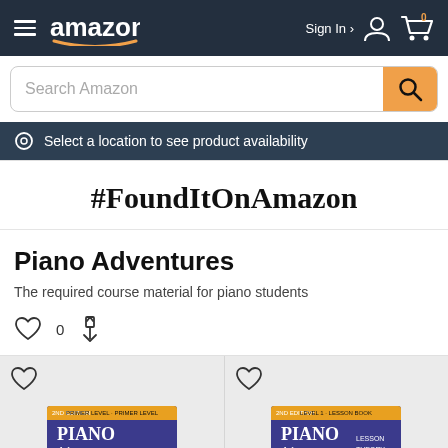amazon   Sign In   0
Search Amazon
Select a location to see product availability
#FoundItOnAmazon
Piano Adventures
The required course material for piano students
[Figure (screenshot): Two Piano Adventures book covers shown as product thumbnails on a gray background, each with a heart/wishlist icon. Left book shows 'Piano Adventures' on a purple cover with a piano player illustration. Right book shows another 'Piano Adventures' edition with colorful instruments.]